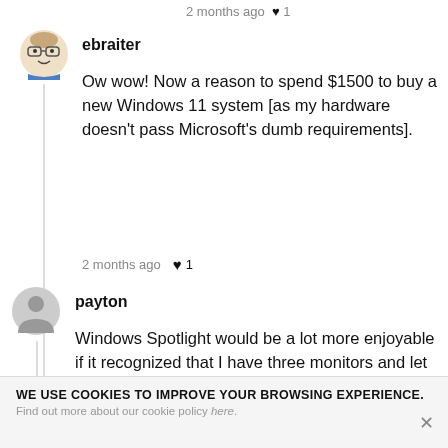2 months ago ♥ 1
ebraiter
Ow wow! Now a reason to spend $1500 to buy a new Windows 11 system [as my hardware doesn't pass Microsoft's dumb requirements].
2 months ago ♥ 1
payton
Windows Spotlight would be a lot more enjoyable if it recognized that I have three monitors and let me choose whether to show the same picture on all three (current behavior) or have a different one on each.
WE USE COOKIES TO IMPROVE YOUR BROWSING EXPERIENCE. Find out more about our cookie policy here.